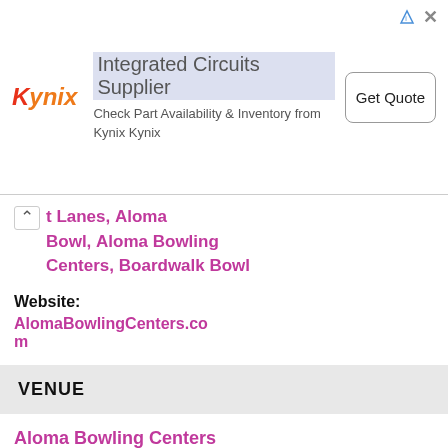[Figure (other): Advertisement banner for Kynix - Integrated Circuits Supplier with logo, description text, and 'Get Quote' button]
t Lanes, Aloma Bowl, Aloma Bowling Centers, Boardwalk Bowl
Website:
AlomaBowlingCenters.com
VENUE
Aloma Bowling Centers
FL United States + Google Map
Phone:
407.384.0003 Option 1
View Venue Website